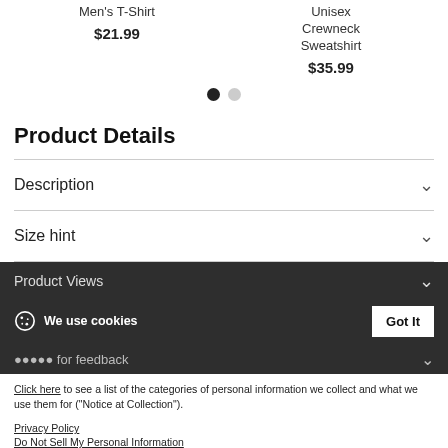Men's T-Shirt $21.99
Unisex Crewneck Sweatshirt $35.99
[Figure (other): Carousel pagination dots: one filled black dot and one grey dot]
Product Details
Description
Size hint
Product Views
We use cookies
Click here to see a list of the categories of personal information we collect and what we use them for ("Notice at Collection").
Privacy Policy
Do Not Sell My Personal Information
By using this website, I agree to the Terms and Conditions